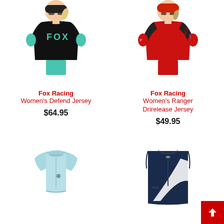[Figure (photo): Woman wearing black Fox Racing jersey with teal Fox logo, teal gloves, and bike gear, shown from waist up against white background]
Fox Racing
Women's Defend Jersey
$64.95
[Figure (photo): Woman wearing red Fox Racing jersey with black sleeves and red gloves, shown from waist up against white background]
Fox Racing
Women's Ranger Drirelease Jersey
$49.95
[Figure (photo): Light blue/mint women's cycling bra top with strappy back and Pearl Izumi branding, shown on white background]
[Figure (photo): Navy blue and white sleeveless cycling vest/jersey with diagonal white stripe, shown on white background]